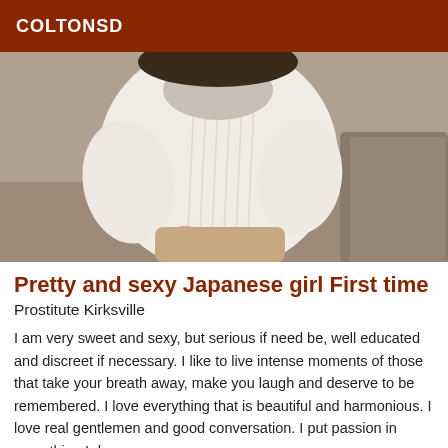COLTONSD
[Figure (photo): A person wearing a white ribbed turtleneck sweater, seated, with hands visible at the bottom, against a brown/gray couch background.]
Pretty and sexy Japanese girl First time
Prostitute Kirksville
I am very sweet and sexy, but serious if need be, well educated and discreet if necessary. I like to live intense moments of those that take your breath away, make you laugh and deserve to be remembered. I love everything that is beautiful and harmonious. I love real gentlemen and good conversation. I put passion in everything I do.